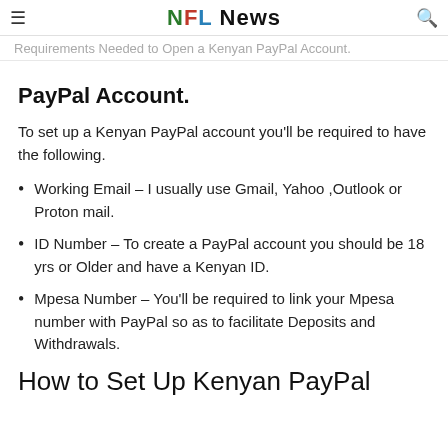NFL News
Requirements Needed to Open a Kenyan PayPal Account.
PayPal Account.
To set up a Kenyan PayPal account you'll be required to have the following.
Working Email – I usually use Gmail, Yahoo ,Outlook or Proton mail.
ID Number – To create a PayPal account you should be 18 yrs or Older and have a Kenyan ID.
Mpesa Number – You'll be required to link your Mpesa number with PayPal so as to facilitate Deposits and Withdrawals.
How to Set Up Kenyan PayPal